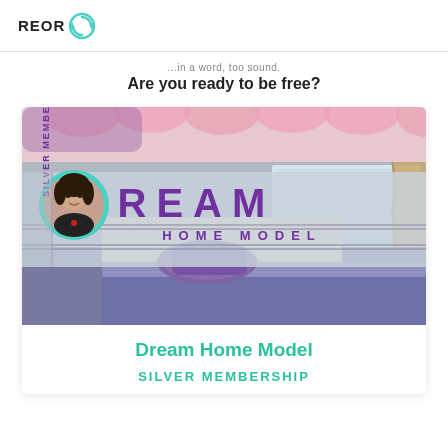REOR (logo with circular arrow icon)
...in a word, too sound.
Are you ready to be free?
[Figure (photo): Dream Home Model banner image showing a stylish bedroom with purple/violet accents, a made bed with purple pillows and bedspread, upholstered headboard, curtains, and a mirror. Overlaid with 'DREAM HOME MODEL' text in large purple letters, a circular profile photo of a woman in the left, and 'SILVER MEMBERSHIP' text vertically on the left edge.]
Dream Home Model
SILVER MEMBERSHIP